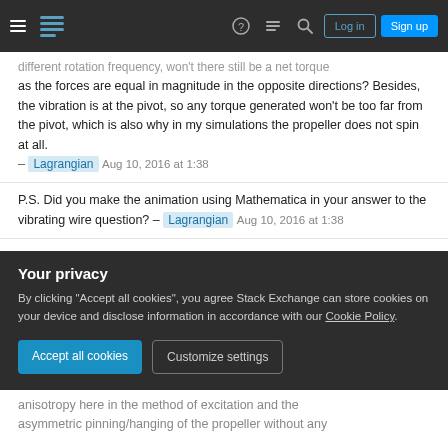Stack Exchange navigation bar with hamburger menu, logo, help, chat, search icons, Log in and Sign up buttons
different rotation frequency, won't there still be a net torque as the forces are equal in magnitude in the opposite directions? Besides, the vibration is at the pivot, so any torque generated won't be too far from the pivot, which is also why in my simulations the propeller does not spin at all. – Lagrangian Aug 10, 2016 at 1:38
P.S. Did you make the animation using Mathematica in your answer to the vibrating wire question? – Lagrangian Aug 10, 2016 at 1:38
@Lagrangian - Right now I'm not at the computer I used to make that animation - but pretty sure I would have used Python (with an outside chance it was Matlab). – Floris Aug 10, 2016 at 2:30
Your privacy
By clicking "Accept all cookies", you agree Stack Exchange can store cookies on your device and disclose information in accordance with our Cookie Policy.
[Accept all cookies] [Customize settings]
anisotropy here in the method of excitation and the asymmetric pinning/hanging of the propeller without any